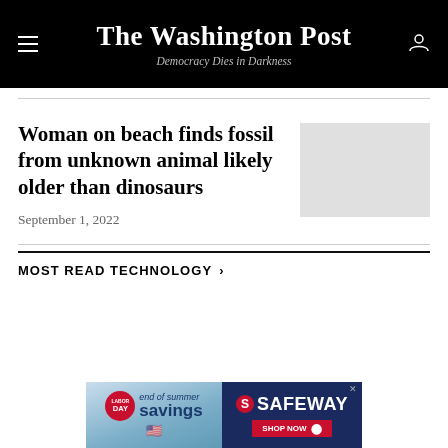The Washington Post — Democracy Dies in Darkness
Woman on beach finds fossil from unknown animal likely older than dinosaurs
September 1, 2022
MOST READ TECHNOLOGY
[Figure (photo): Gray placeholder image for article thumbnail]
[Figure (photo): Safeway advertisement: Labor Day end of summer savings, Shop Now]